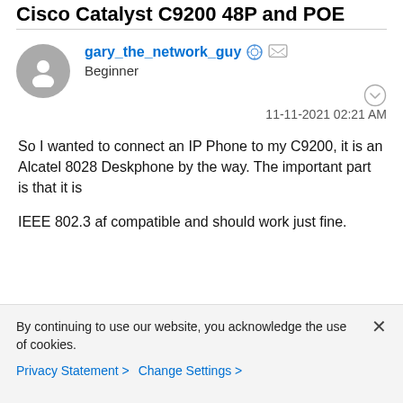Cisco Catalyst C9200 48P and POE
gary_the_network_guy
Beginner
11-11-2021 02:21 AM
So I wanted to connect an IP Phone to my C9200, it is an Alcatel 8028 Deskphone by the way. The important part is that it is
IEEE 802.3 af compatible and should work just fine.
By continuing to use our website, you acknowledge the use of cookies.
Privacy Statement >   Change Settings >